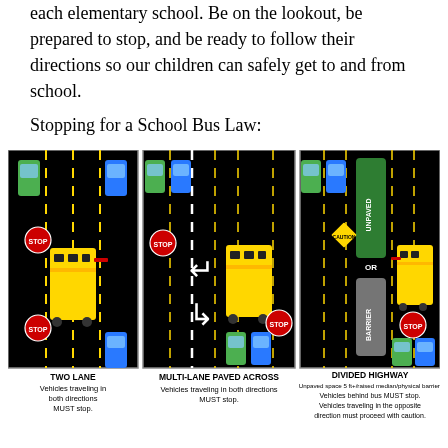each elementary school. Be on the lookout, be prepared to stop, and be ready to follow their directions so our children can safely get to and from school.
Stopping for a School Bus Law:
[Figure (infographic): Three side-by-side road diagrams illustrating school bus stopping laws: (1) TWO LANE - Vehicles traveling in both directions MUST stop. (2) MULTI-LANE PAVED ACROSS - Vehicles traveling in both directions MUST stop. (3) DIVIDED HIGHWAY - Unpaved space 5 ft+/raised median/physical barrier. Vehicles behind bus MUST stop. Vehicles traveling in the opposite direction must proceed with caution.]